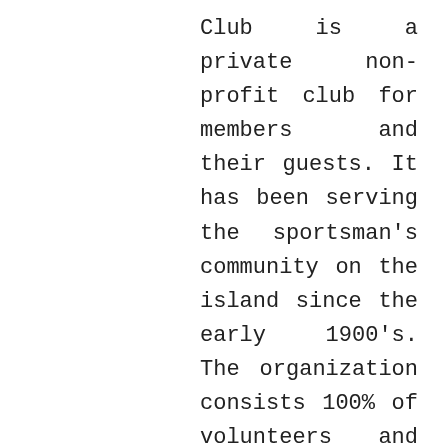Club is a private non-profit club for members and their guests. It has been serving the sportsman's community on the island since the early 1900's. The organization consists 100% of volunteers and the members donate thousands of man-hours each year to make all of their programs a reality.
The Rod & Gun Club is the only club of this type on Martha's Vineyard. It was founded in 1911 and incorporated in 1938. Since 1952, the club has been located on 16-acres of land in Edgartown overlooking spectacular Sengekontacket Pond and